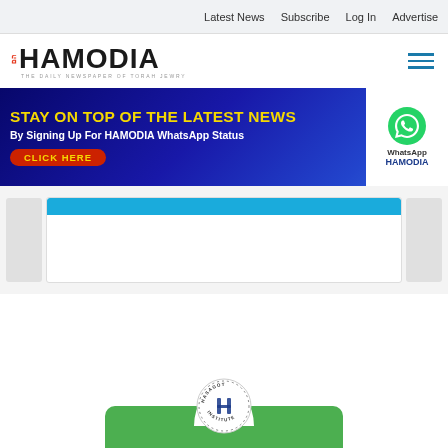Latest News  Subscribe  Log In  Advertise
[Figure (logo): Hamodia newspaper logo with Hebrew text and tagline 'The Daily Newspaper of Torah Jewry']
[Figure (infographic): Banner ad: 'STAY ON TOP OF THE LATEST NEWS By Signing Up For HAMODIA WhatsApp Status CLICK HERE' with WhatsApp logo and HAMODIA branding on white panel]
[Figure (other): Content card area with two gray sidebar placeholders and a center white card with blue bar at top]
[Figure (logo): Hasagot Institute circular logo above a green card with notch cutout]